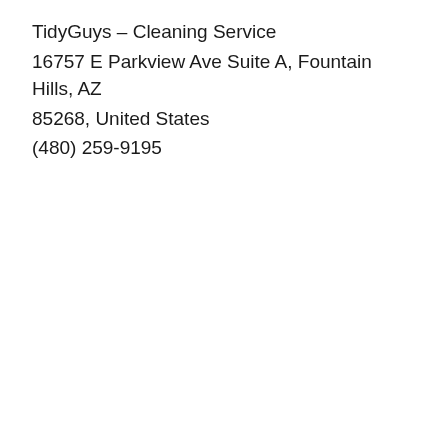TidyGuys – Cleaning Service
16757 E Parkview Ave Suite A, Fountain Hills, AZ 85268, United States
(480) 259-9195